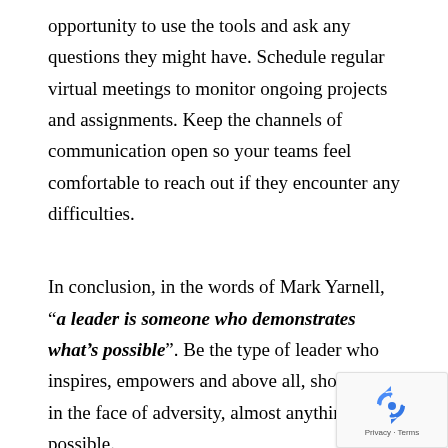opportunity to use the tools and ask any questions they might have. Schedule regular virtual meetings to monitor ongoing projects and assignments. Keep the channels of communication open so your teams feel comfortable to reach out if they encounter any difficulties.
In conclusion, in the words of Mark Yarnell, "a leader is someone who demonstrates what's possible". Be the type of leader who inspires, empowers and above all, shows that in the face of adversity, almost anything is possible.